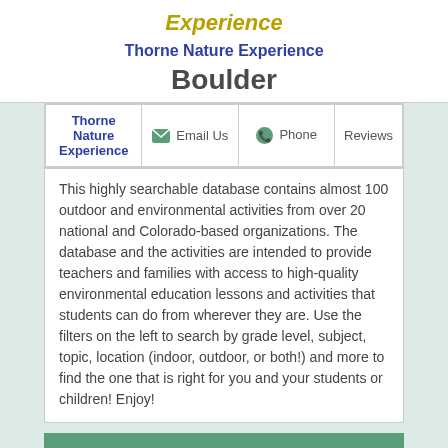Experience
Thorne Nature Experience
Boulder
| Thorne Nature Experience | Email Us | Phone | Reviews |
| --- | --- | --- | --- |
| Thorne Nature Experience | Email Us | Phone | Reviews |
This highly searchable database contains almost 100 outdoor and environmental activities from over 20 national and Colorado-based organizations. The database and the activities are intended to provide teachers and families with access to high-quality environmental education lessons and activities that students can do from wherever they are. Use the filters on the left to search by grade level, subject, topic, location (indoor, outdoor, or both!) and more to find the one that is right for you and your students or children! Enjoy!
EDUCATION REVIEWS